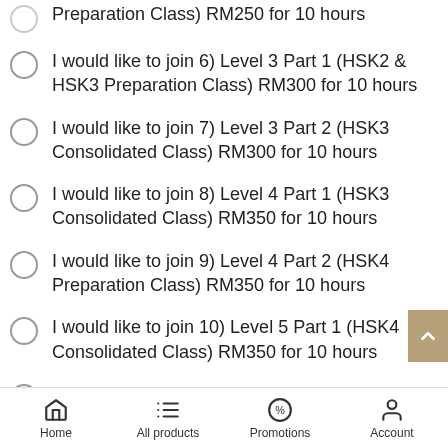Preparation Class) RM250 for 10 hours
I would like to join 6) Level 3 Part 1 (HSK2 & HSK3 Preparation Class) RM300 for 10 hours
I would like to join 7) Level 3 Part 2 (HSK3 Consolidated Class) RM300 for 10 hours
I would like to join 8) Level 4 Part 1 (HSK3 Consolidated Class) RM350 for 10 hours
I would like to join 9) Level 4 Part 2 (HSK4 Preparation Class) RM350 for 10 hours
I would like to join 10) Level 5 Part 1 (HSK4 Consolidated Class) RM350 for 10 hours
I am not sure which course to join, please contact me
Home | All products | Promotions | Account